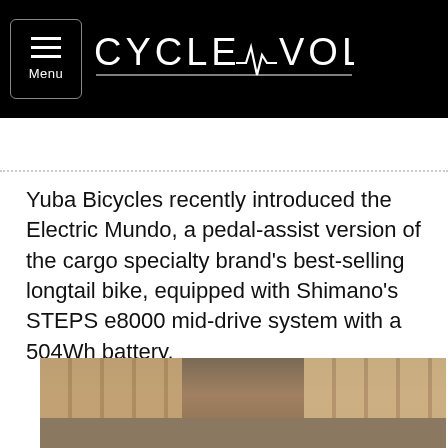CYCLE VOLTA
Yuba Bicycles recently introduced the Electric Mundo, a pedal-assist version of the cargo specialty brand's best-selling longtail bike, equipped with Shimano's STEPS e8000 mid-drive system with a 504Wh battery.
[Figure (photo): Children playing in a warehouse with cardboard boxes stacked in the background, riding what appears to be a cargo bike]